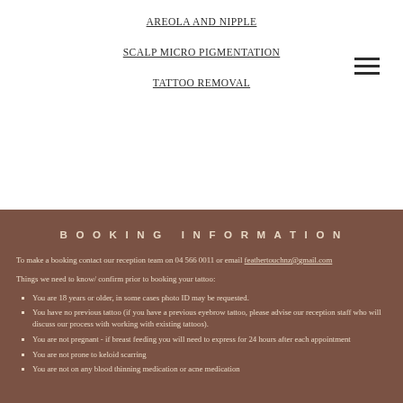AREOLA AND NIPPLE
SCALP MICRO PIGMENTATION
TATTOO REMOVAL
BOOKING INFORMATION
To make a booking contact our reception team on 04 566 0011 or email feathertouchnz@gmail.com
Things we need to know/ confirm prior to booking your tattoo:
You are 18 years or older, in some cases photo ID may be requested.
You have no previous tattoo (if you have a previous eyebrow tattoo, please advise our reception staff who will discuss our process with working with existing tattoos).
You are not pregnant - if breast feeding you will need to express for 24 hours after each appointment
You are not prone to keloid scarring
You are not on any blood thinning medication or acne medication